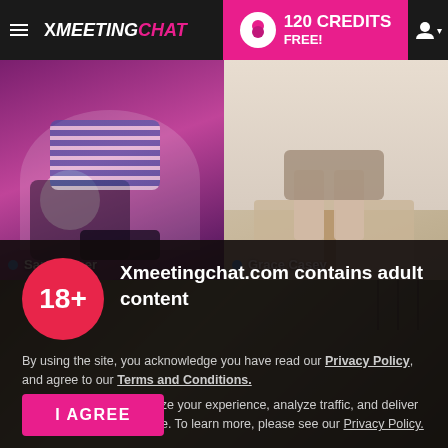XMEETINGCHAT — 120 CREDITS FREE!
[Figure (screenshot): Two webcam model thumbnails side by side. Left: Sara Milleer against purple/pink background. Right: Grace Casey in a light room seated on stool. Both have blue online indicator dots.]
Sara Milleer
Grace Casey
[Figure (screenshot): Partial third model photo visible below the two main thumbnails, with dark overlay for age verification modal.]
Xmeetingchat.com contains adult content
By using the site, you acknowledge you have read our Privacy Policy, and agree to our Terms and Conditions.
We use cookies to optimize your experience, analyze traffic, and deliver more personalized service. To learn more, please see our Privacy Policy.
I AGREE